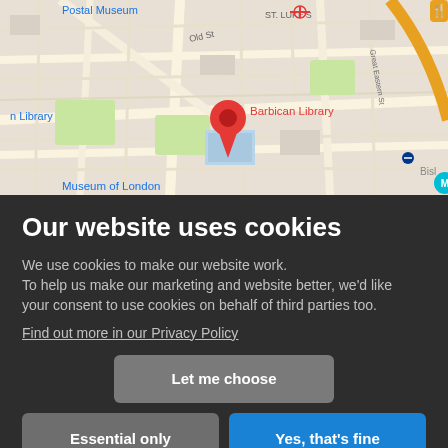[Figure (map): Google Maps view showing Barbican Library location in London, with nearby landmarks including Postal Museum, Museum of London, St. Luke's area, and Old Street. A red location pin marks Barbican Library. Various transport icons visible.]
Our website uses cookies
We use cookies to make our website work. To help us make our marketing and website better, we'd like your consent to use cookies on behalf of third parties too.
Find out more in our Privacy Policy
Let me choose
Essential only
Yes, that's fine